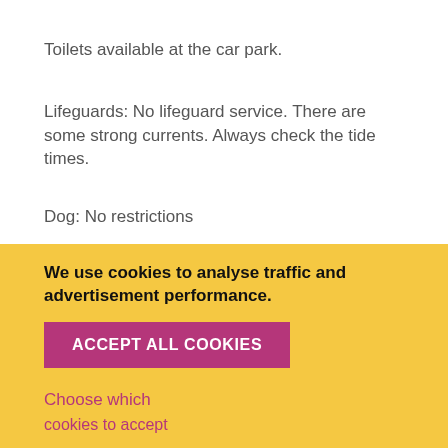Toilets available at the car park.
Lifeguards: No lifeguard service. There are some strong currents. Always check the tide times.
Dog: No restrictions
Awards: Green Coast Award
Website Sorry, we don't have a website for this attraction.
Telephone
We use cookies to analyse traffic and advertisement performance.
ACCEPT ALL COOKIES
Choose which cookies to accept